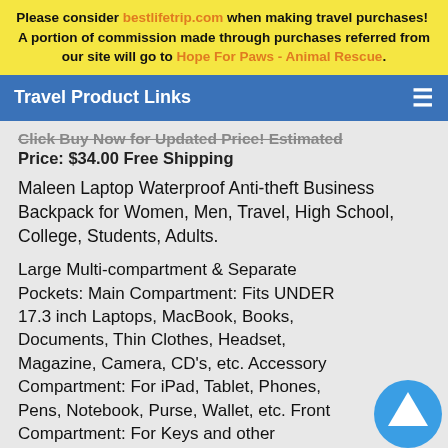Please consider bestlifetrip.com when making travel purchases! A portion of commission made through purchases referred from our site will go to Hope For Paws - Animal Rescue.
Travel Product Links
Click Buy Now for Updated Price! Estimated Price: $34.00 Free Shipping
Maleen Laptop Waterproof Anti-theft Business Backpack for Women, Men, Travel, High School, College, Students, Adults.
Large Multi-compartment & Separate Pockets: Main Compartment: Fits UNDER 17.3 inch Laptops, MacBook, Books, Documents, Thin Clothes, Headset, Magazine, Camera, CD's, etc. Accessory Compartment: For iPad, Tablet, Phones, Pens, Notebook, Purse, Wallet, etc. Front Compartment: For Keys and other additional small accessories. Side Pockets: Durable Elasticized Pockets on both